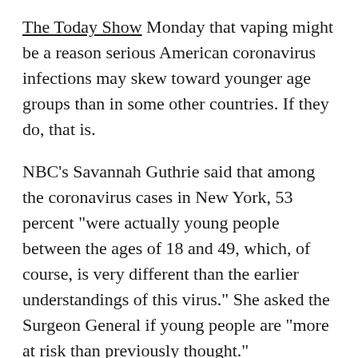The Today Show Monday that vaping might be a reason serious American coronavirus infections may skew toward younger age groups than in some other countries. If they do, that is.
NBC's Savannah Guthrie said that among the coronavirus cases in New York, 53 percent "were actually young people between the ages of 18 and 49, which, of course, is very different than the earlier understandings of this virus." She asked the Surgeon General if young people are "more at risk than previously thought."
"There are theories," Adams told